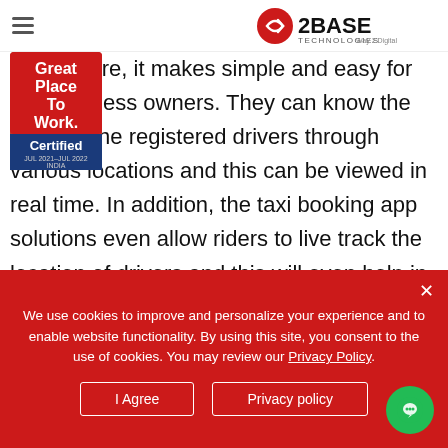2BASE TECHNOLOGIES — Way 2 Digital
[Figure (logo): Great Place To Work Certified JUL 2021–JUL 2022 INDIA badge, red background with white text]
g…ng feature, it makes simple and easy for u… business owners. They can know the n…ts of the registered drivers through various locations and this can be viewed in real time. In addition, the taxi booking app solutions even allow riders to live track the location of drivers and this will even help in increasing the integrity of the business.
We use cookies to improve and personalize your experience and to enable website functionality. By using this site, you consent to the use of cookies. You may review our Privacy Policy.
I Agree
Privacy policy